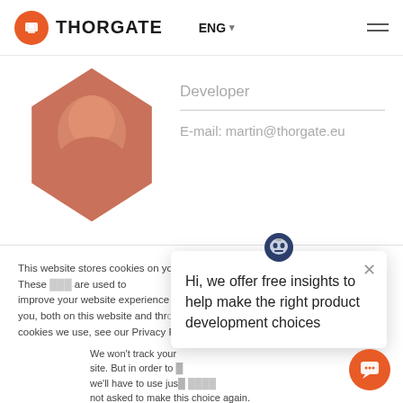[Figure (logo): Thorgate logo with orange circle icon and bold THORGATE text]
ENG ▾
Developer
E-mail: martin@thorgate.eu
[Figure (photo): Profile photo of a man in hexagon crop with orange tint]
This website stores cookies on your computer. These are used to improve your website experience you, both on this website and through cookies we use, see our Privacy P
We won't track your site. But in order to we'll have to use jus not asked to make this choice again.
Hi, we offer free insights to help make the right product development choices
Accept
Decline